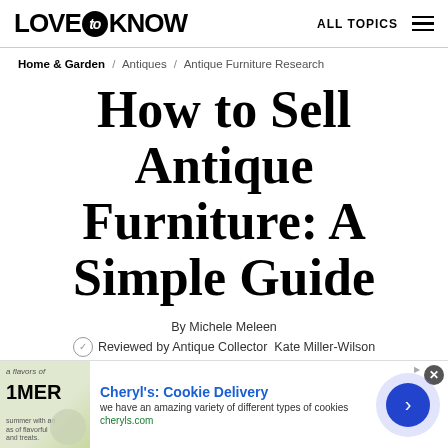LOVE to KNOW   ALL TOPICS
Home & Garden / Antiques / Antique Furniture Research
How to Sell Antique Furniture: A Simple Guide
By Michele Meleen
Reviewed by Antique Collector Kate Miller-Wilson / Antique Collector
[Figure (screenshot): Advertisement banner for Cheryl's Cookie Delivery with text 'we have an amazing variety of different types of cookies' and website cheryls.com, with a close button and arrow navigation button.]